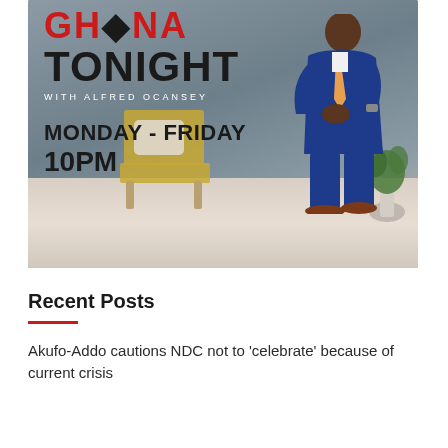[Figure (photo): Promotional banner for 'Ghana Tonight with Alfred Ocansey' TV show. Shows a man in a blue suit with orange tie standing in a modern interior setting with a yellow chair and plants. Text reads: GHANA TONIGHT WITH ALFRED OCANSEY, MONDAY - FRIDAY, 10PM.]
Recent Posts
Akufo-Addo cautions NDC not to 'celebrate' because of current crisis